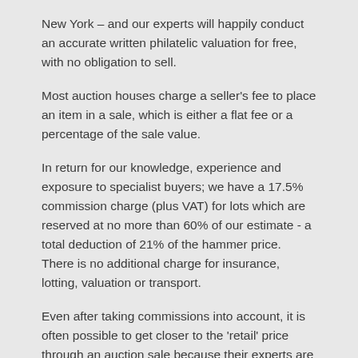New York – and our experts will happily conduct an accurate written philatelic valuation for free, with no obligation to sell.
Most auction houses charge a seller's fee to place an item in a sale, which is either a flat fee or a percentage of the sale value.
In return for our knowledge, experience and exposure to specialist buyers; we have a 17.5% commission charge (plus VAT) for lots which are reserved at no more than 60% of our estimate - a total deduction of 21% of the hammer price. There is no additional charge for insurance, lotting, valuation or transport.
Even after taking commissions into account, it is often possible to get closer to the 'retail' price through an auction sale because their experts are working for your benefit to secure as much as possible, rather than negotiating against you.